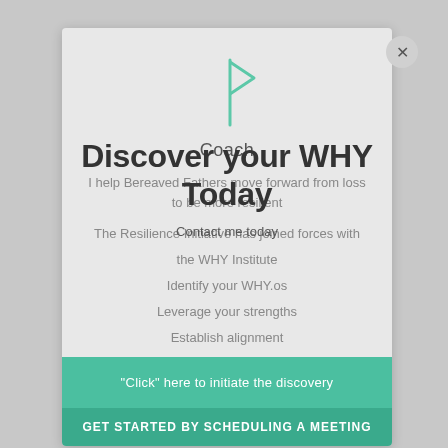[Figure (illustration): Flag/pennant icon in teal/mint color, outline style]
Coach
I help Bereaved Fathers move forward from loss to be more resilient
Discover your WHY Today
The Resilience Initiative has joined forces with the WHY Institute
Identify your WHY.os
Leverage your strengths
Establish alignment
Contact me today
"Click" here to initiate the discovery
GET STARTED BY SCHEDULING A MEETING